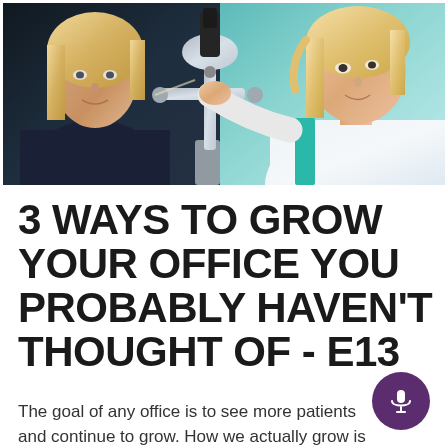[Figure (photo): A female optometrist/eye doctor using a slit lamp to examine the eyes of a female patient in a clinical setting. The doctor is on the right wearing a white coat with teal accent, the patient is on the left. Medical equipment (slit lamp) is visible in the center.]
3 WAYS TO GROW YOUR OFFICE YOU PROBABLY HAVEN'T THOUGHT OF - E13
The goal of any office is to see more patients and continue to grow. How we actually grow is the